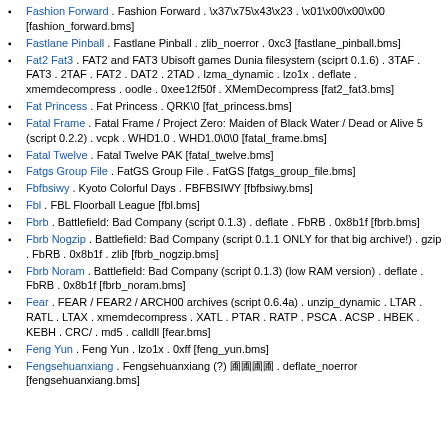Fashion Forward . Fashion Forward . \x37\x75\x43\x23 . \x01\x00\x00\x00 [fashion_forward.bms]
Fastlane Pinball . Fastlane Pinball . zlib_noerror . 0xc3 [fastlane_pinball.bms]
Fat2 Fat3 . FAT2 and FAT3 Ubisoft games Dunia filesystem (sciprt 0.1.6) . 3TAF . FAT3 . 2TAF . FAT2 . DAT2 . 2TAD . lzma_dynamic . lzo1x . deflate . xmemdecompress . oodle . 0xee12f50f . XMemDecompress [fat2_fat3.bms]
Fat Princess . Fat Princess . QRK\0 [fat_princess.bms]
Fatal Frame . Fatal Frame / Project Zero: Maiden of Black Water / Dead or Alive 5 (script 0.2.2) . vcpk . WHD1.0 . WHD1.0\0\0 [fatal_frame.bms]
Fatal Twelve . Fatal Twelve PAK [fatal_twelve.bms]
Fatgs Group File . FatGS Group File . FatGS [fatgs_group_file.bms]
Fbfbsiwy . Kyoto Colorful Days . FBFBSIWY [fbfbsiwy.bms]
Fbl . FBL Floorball League [fbl.bms]
Fbrb . Battlefield: Bad Company (script 0.1.3) . deflate . FbRB . 0x8b1f [fbrb.bms]
Fbrb Nogzip . Battlefield: Bad Company (script 0.1.1 ONLY for that big archive!) . gzip . FbRB . 0x8b1f . zlib [fbrb_nogzip.bms]
Fbrb Noram . Battlefield: Bad Company (script 0.1.3) (low RAM version) . deflate . FbRB . 0x8b1f [fbrb_noram.bms]
Fear . FEAR / FEAR2 / ARCH00 archives (script 0.6.4a) . unzip_dynamic . LTAR . RATL . LTAX . xmemdecompress . XATL . PTAR . RATP . PSCA . ACSP . HBEK . KEBH . CRC/ . md5 . calldll [fear.bms]
Feng Yun . Feng Yun . lzo1x . 0xff [feng_yun.bms]
Fengsehuanxiang . Fengsehuanxiang (?) 圄圄圄圄 . deflate_noerror [fengsehuanxiang.bms]